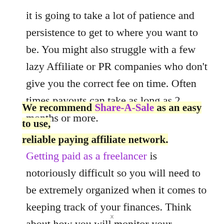it is going to take a lot of patience and persistence to get to where you want to be. You might also struggle with a few lazy Affiliate or PR companies who don't give you the correct fee on time. Often times payouts can take as long as 2 months or more.
We recommend Share-A-Sale as an easy to use, reliable paying affiliate network. Getting paid as a freelancer is notoriously difficult so you will need to be extremely organized when it comes to keeping track of your finances. Think about how you will monitor your invoices and payments each week and think